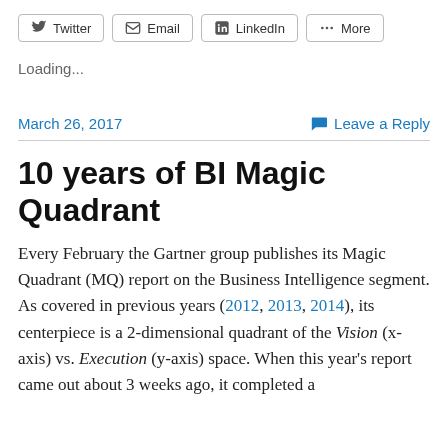[Figure (other): Social share buttons row: Twitter, Email, LinkedIn, More]
Loading...
March 26, 2017    Leave a Reply
10 years of BI Magic Quadrant
Every February the Gartner group publishes its Magic Quadrant (MQ) report on the Business Intelligence segment. As covered in previous years (2012, 2013, 2014), its centerpiece is a 2-dimensional quadrant of the Vision (x-axis) vs. Execution (y-axis) space. When this year's report came out about 3 weeks ago, it completed a